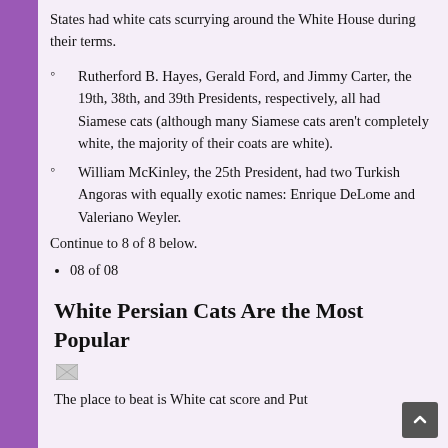States had white cats scurrying around the White House during their terms.
Rutherford B. Hayes, Gerald Ford, and Jimmy Carter, the 19th, 38th, and 39th Presidents, respectively, all had Siamese cats (although many Siamese cats aren't completely white, the majority of their coats are white).
William McKinley, the 25th President, had two Turkish Angoras with equally exotic names: Enrique DeLome and Valeriano Weyler.
Continue to 8 of 8 below.
08 of 08
White Persian Cats Are the Most Popular
[Figure (photo): Small thumbnail image placeholder]
The place to beat is White cat score and Put